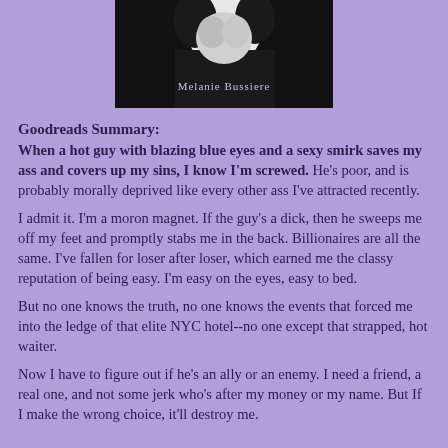[Figure (photo): Book cover image showing a person with 'Melanie Bussiere' author name in white text on a dark background]
Goodreads Summary:
When a hot guy with blazing blue eyes and a sexy smirk saves my ass and covers up my sins, I know I'm screwed. He's poor, and is probably morally deprived like every other ass I've attracted recently.

I admit it. I'm a moron magnet. If the guy's a dick, then he sweeps me off my feet and promptly stabs me in the back. Billionaires are all the same. I've fallen for loser after loser, which earned me the classy reputation of being easy. I'm easy on the eyes, easy to bed.

But no one knows the truth, no one knows the events that forced me into the ledge of that elite NYC hotel--no one except that strapped, hot waiter.

Now I have to figure out if he's an ally or an enemy. I need a friend, a real one, and not some jerk who's after my money or my name. But If I make the wrong choice, it'll destroy me.